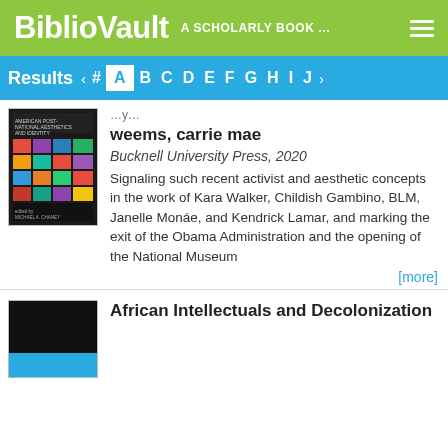BiblioVault — A SCHOLARLY BOOK ...
Results  # A B C D E F G H I J
[Figure (illustration): Book cover with colorful grid of squares on dark background]
weems, carrie mae
Bucknell University Press, 2020
Signaling such recent activist and aesthetic concepts in the work of Kara Walker, Childish Gambino, BLM, Janelle Monáe, and Kendrick Lamar, and marking the exit of the Obama Administration and the opening of the National Museum
[more]
[Figure (illustration): Book cover, dark top half, cyan/teal bottom]
African Intellectuals and Decolonization